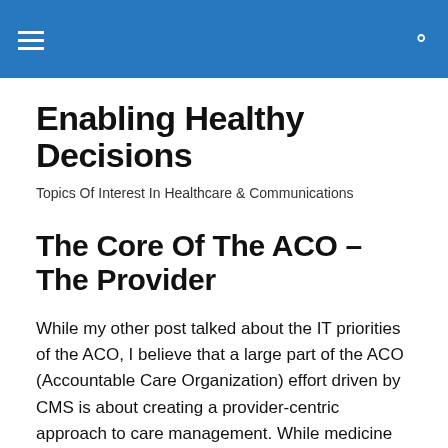Enabling Healthy Decisions — navigation header bar
Enabling Healthy Decisions
Topics Of Interest In Healthcare & Communications
The Core Of The ACO – The Provider
While my other post talked about the IT priorities of the ACO, I believe that a large part of the ACO (Accountable Care Organization) effort driven by CMS is about creating a provider-centric approach to care management. While medicine certainly began as a provider to patient relationship, that has changed over the years to a